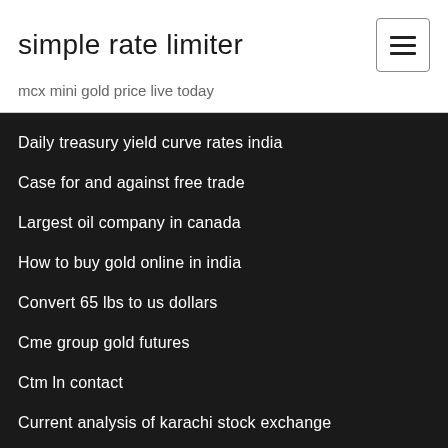simple rate limiter
mcx mini gold price live today
Daily treasury yield curve rates india
Case for and against free trade
Largest oil company in canada
How to buy gold online in india
Convert 65 lbs to us dollars
Cme group gold futures
Ctm ln contact
Current analysis of karachi stock exchange
Online expense tracker free
Unemployment rate of costa rica